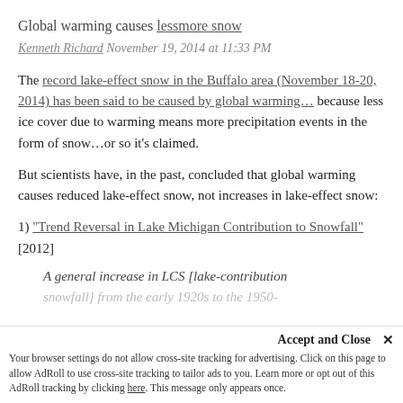Global warming causes lessmore snow
Kenneth Richard November 19, 2014 at 11:33 PM
The record lake-effect snow in the Buffalo area (November 18-20, 2014) has been said to be caused by global warming… because less ice cover due to warming means more precipitation events in the form of snow…or so it's claimed.
But scientists have, in the past, concluded that global warming causes reduced lake-effect snow, not increases in lake-effect snow:
1) "Trend Reversal in Lake Michigan Contribution to Snowfall" [2012]
A general increase in LCS [lake-contribution snowfall] from the early 1920s to the 1950-
Accept and Close ✕
Your browser settings do not allow cross-site tracking for advertising. Click on this page to allow AdRoll to use cross-site tracking to tailor ads to you. Learn more or opt out of this AdRoll tracking by clicking here. This message only appears once.